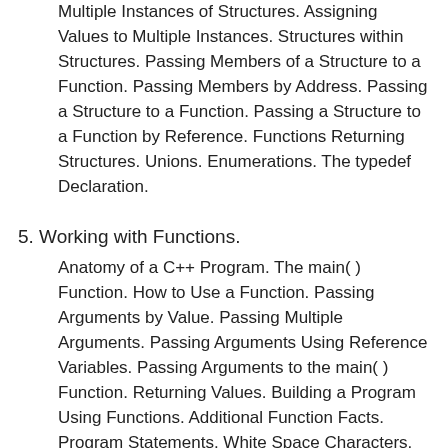Multiple Instances of Structures. Assigning Values to Multiple Instances. Structures within Structures. Passing Members of a Structure to a Function. Passing Members by Address. Passing a Structure to a Function. Passing a Structure to a Function by Reference. Functions Returning Structures. Unions. Enumerations. The typedef Declaration.
5. Working with Functions.
Anatomy of a C++ Program. The main( ) Function. How to Use a Function. Passing Arguments by Value. Passing Multiple Arguments. Passing Arguments Using Reference Variables. Passing Arguments to the main( ) Function. Returning Values. Building a Program Using Functions. Additional Function Facts. Program Statements. White Space Characters. Preprocessor Directives. More Preprocessor Directives. #define with Arguments. inline Function. #if, #else, #elif, #endif. #ifdef, #ifndef. Argc and the main( ) arguments.